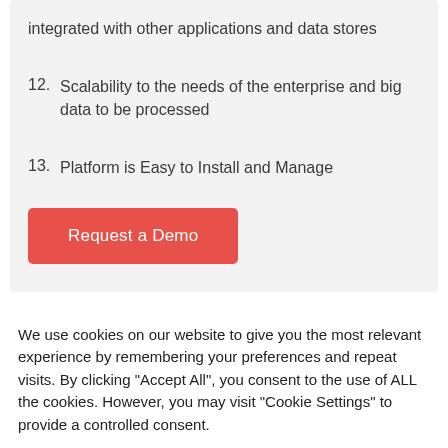Integrated with other applications and data stores
12. Scalability to the needs of the enterprise and big data to be processed
13. Platform is Easy to Install and Manage
Request a Demo
We use cookies on our website to give you the most relevant experience by remembering your preferences and repeat visits. By clicking “Accept All”, you consent to the use of ALL the cookies. However, you may visit "Cookie Settings" to provide a controlled consent.
Cookie Settings
Accept All